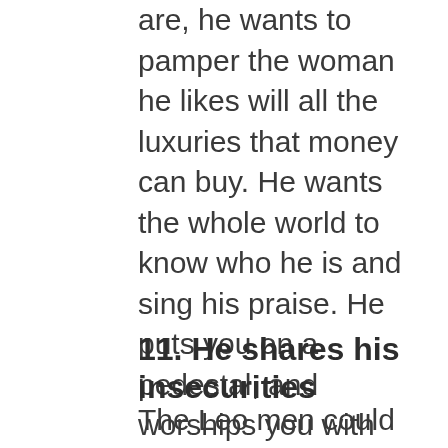are, he wants to pamper the woman he likes will all the luxuries that money can buy. He wants the whole world to know who he is and sing his praise. He puts you on a pedestal, and worships you with adornments that add to your elegance and beauty.
11. He shares his insecurities
The Leo men could often become